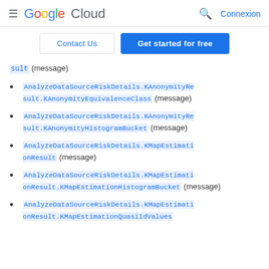Google Cloud — Connexion
Contact Us | Get started for free
sult (message)
AnalyzeDataSourceRiskDetails.KAnonymityResult.KAnonymityEquivalenceClass (message)
AnalyzeDataSourceRiskDetails.KAnonymityResult.KAnonymityHistogramBucket (message)
AnalyzeDataSourceRiskDetails.KMapEstimationResult (message)
AnalyzeDataSourceRiskDetails.KMapEstimationResult.KMapEstimationHistogramBucket (message)
AnalyzeDataSourceRiskDetails.KMapEstimationResult.KMapEstimationQuasiIdValues